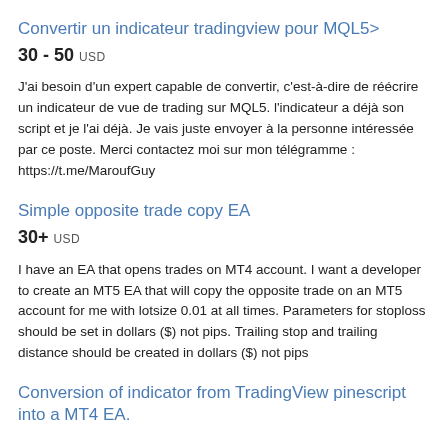Convertir un indicateur tradingview pour MQL5>
30 - 50 USD
J'ai besoin d'un expert capable de convertir, c'est-à-dire de réécrire un indicateur de vue de trading sur MQL5. l'indicateur a déjà son script et je l'ai déjà. Je vais juste envoyer à la personne intéressée par ce poste. Merci contactez moi sur mon télégramme : https://t.me/MaroufGuy
Simple opposite trade copy EA
30+ USD
I have an EA that opens trades on MT4 account. I want a developer to create an MT5 EA that will copy the opposite trade on an MT5 account for me with lotsize 0.01 at all times. Parameters for stoploss should be set in dollars ($) not pips. Trailing stop and trailing distance should be created in dollars ($) not pips
Conversion of indicator from TradingView pinescript into a MT4 EA.